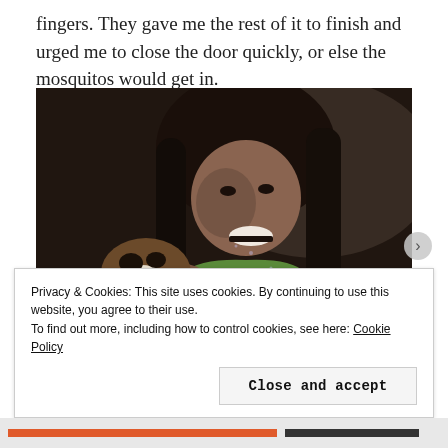fingers. They gave me the rest of it to finish and urged me to close the door quickly, or else the mosquitos would get in.
[Figure (photo): A young woman with long wet dark hair, wearing a green tank top, smiling and holding what appears to be a large tropical fruit or seed pod. The photo is taken indoors in dim lighting.]
Privacy & Cookies: This site uses cookies. By continuing to use this website, you agree to their use.
To find out more, including how to control cookies, see here: Cookie Policy
Close and accept